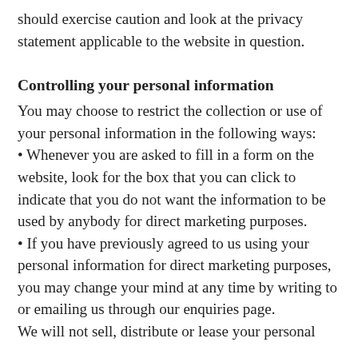should exercise caution and look at the privacy statement applicable to the website in question.
Controlling your personal information
You may choose to restrict the collection or use of your personal information in the following ways:
• Whenever you are asked to fill in a form on the website, look for the box that you can click to indicate that you do not want the information to be used by anybody for direct marketing purposes.
• If you have previously agreed to us using your personal information for direct marketing purposes, you may change your mind at any time by writing to or emailing us through our enquiries page.
We will not sell, distribute or lease your personal